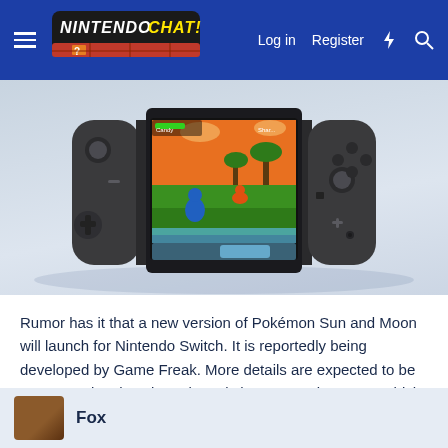Nintendo Chat — Log in | Register
[Figure (screenshot): Nintendo Switch handheld console displaying a Pokemon Sun/Moon style game on its screen, showing a battle scene with characters in a tropical outdoor environment.]
Rumor has it that a new version of Pokémon Sun and Moon will launch for Nintendo Switch. It is reportedly being developed by Game Freak. More details are expected to be announced at the Nintendo Switch Presentation 2017, which is scheduled to take place on January 12.
Fox